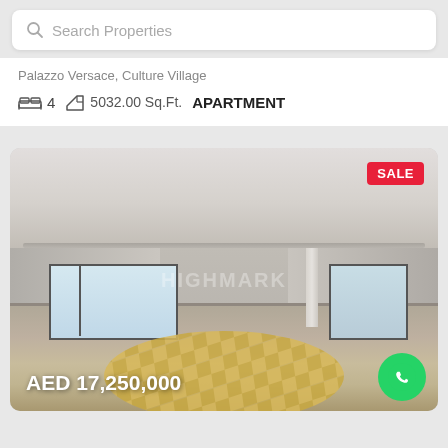Search Properties
Palazzo Versace, Culture Village
4  5032.00 Sq.Ft.  APARTMENT
[Figure (photo): Interior photo of a large luxury apartment at Palazzo Versace, Culture Village. Spacious room with white ceilings, marble-look flooring with orange/gold checkered pattern, floor-to-ceiling windows, and white columns. Shows SALE badge in top right corner and price AED 17,250,000 at bottom left. WhatsApp button at bottom right.]
SALE
AED 17,250,000